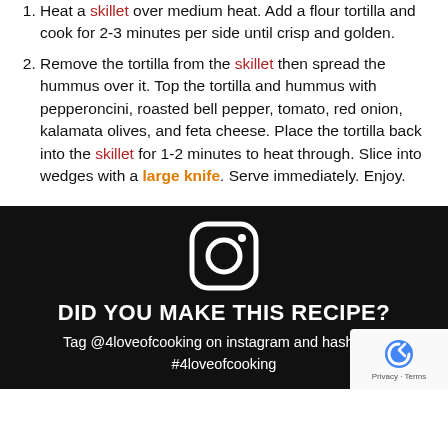Heat a skillet over medium heat. Add a flour tortilla and cook for 2-3 minutes per side until crisp and golden.
Remove the tortilla from the skillet then spread the hummus over it. Top the tortilla and hummus with pepperoncini, roasted bell pepper, tomato, red onion, kalamata olives, and feta cheese. Place the tortilla back into the skillet for 1-2 minutes to heat through. Slice into wedges with a large knife. Serve immediately. Enjoy.
[Figure (logo): Instagram icon in white on black background]
DID YOU MAKE THIS RECIPE?
Tag @4loveofcooking on instagram and hashtag it #4loveofcooking